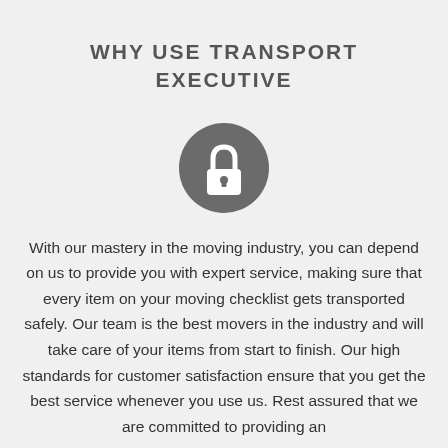WHY USE TRANSPORT EXECUTIVE
[Figure (illustration): A grey circle icon containing a white padlock/lock symbol]
With our mastery in the moving industry, you can depend on us to provide you with expert service, making sure that every item on your moving checklist gets transported safely. Our team is the best movers in the industry and will take care of your items from start to finish. Our high standards for customer satisfaction ensure that you get the best service whenever you use us. Rest assured that we are committed to providing an